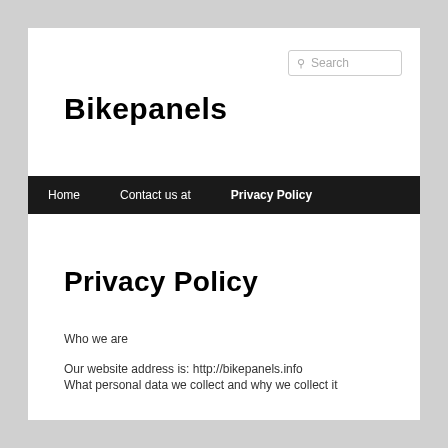Search
Bikepanels
Home | Contact us at | Privacy Policy
Privacy Policy
Who we are
Our website address is: http://bikepanels.info
What personal data we collect and why we collect it